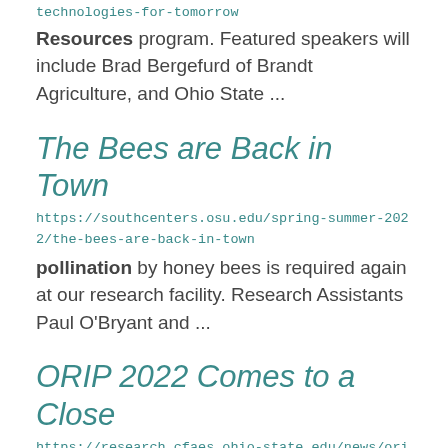technologies-for-tomorrow
Resources program. Featured speakers will include Brad Bergefurd of Brandt Agriculture, and Ohio State ...
The Bees are Back in Town
https://southcenters.osu.edu/spring-summer-2022/the-bees-are-back-in-town
pollination by honey bees is required again at our research facility.  Research Assistants Paul O'Bryant and ...
ORIP 2022 Comes to a Close
https://research.cfaes.ohio-state.edu/news/orip-2022-comes-close
Natural Resources. Thank you so much to